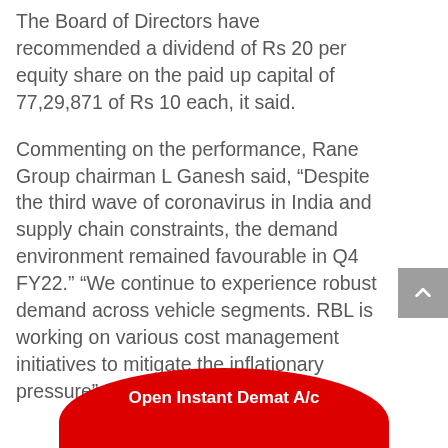The Board of Directors have recommended a dividend of Rs 20 per equity share on the paid up capital of 77,29,871 of Rs 10 each, it said.
Commenting on the performance, Rane Group chairman L Ganesh said, “Despite the third wave of coronavirus in India and supply chain constraints, the demand environment remained favourable in Q4 FY22.” “We continue to experience robust demand across vehicle segments. RBL is working on various cost management initiatives to mitigate the inflationary pressure”, he said.
[Figure (other): Red semi-circular CTA button at bottom center reading 'Open Instant Demat A/c']